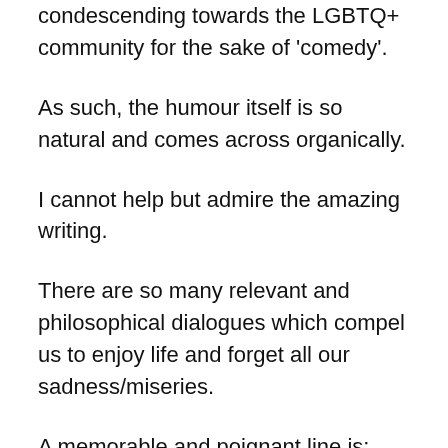condescending towards the LGBTQ+ community for the sake of 'comedy'.
As such, the humour itself is so natural and comes across organically.
I cannot help but admire the amazing writing.
There are so many relevant and philosophical dialogues which compel us to enjoy life and forget all our sadness/miseries.
A memorable and poignant line is: “Life teaches us ‘sa re ga ma’ (musical notes) and us humans live life as ‘Sare gam’ (all the sadness)”.